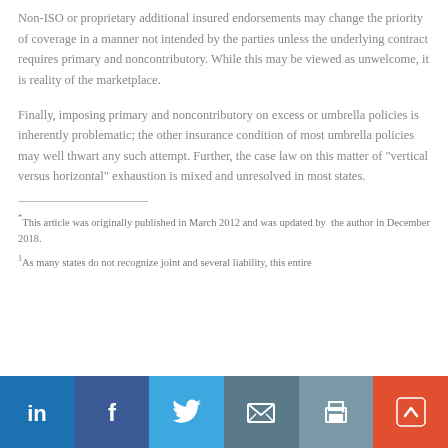Non-ISO or proprietary additional insured endorsements may change the priority of coverage in a manner not intended by the parties unless the underlying contract requires primary and noncontributory. While this may be viewed as unwelcome, it is reality of the marketplace.
Finally, imposing primary and noncontributory on excess or umbrella policies is inherently problematic; the other insurance condition of most umbrella policies may well thwart any such attempt. Further, the case law on this matter of "vertical versus horizontal" exhaustion is mixed and unresolved in most states.
*This article was originally published in March 2012 and was updated by the author in December 2018.
1As many states do not recognize joint and several liability, this entire